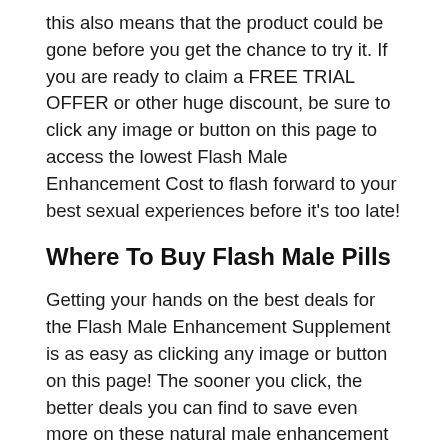this also means that the product could be gone before you get the chance to try it. If you are ready to claim a FREE TRIAL OFFER or other huge discount, be sure to click any image or button on this page to access the lowest Flash Male Enhancement Cost to flash forward to your best sexual experiences before it's too late!
Where To Buy Flash Male Pills
Getting your hands on the best deals for the Flash Male Enhancement Supplement is as easy as clicking any image or button on this page! The sooner you click, the better deals you can find to save even more on these natural male enhancement pills. If you click in time, you can even claim a FREE TRIAL OFFER to test out how these powerful flash pills work. But the longer you wait, the more likely that this incredible performance formula could be gone before you try it. So, click any image or button on this page to access a FREE TRIAL OFFER of the top selling male enhancement pills to flash forward to your best sexual encounters before suppliers are